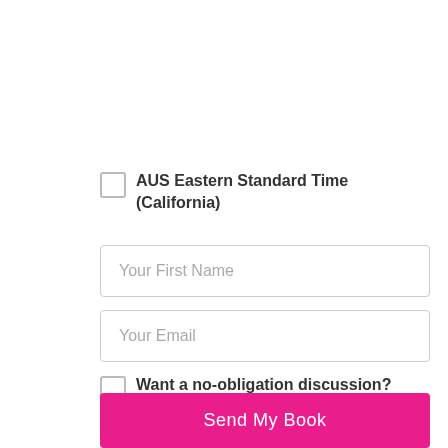AUS Eastern Standard Time (California)
[Figure (other): Form input field with placeholder text: Your First Name]
[Figure (other): Form input field with placeholder text: Your Email]
Want a no-obligation discussion?
Send My Book